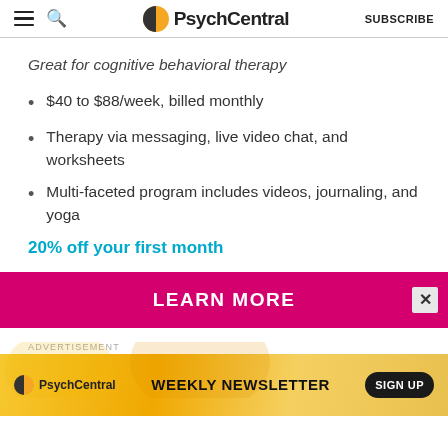PsychCentral | SUBSCRIBE
Great for cognitive behavioral therapy
$40 to $88/week, billed monthly
Therapy via messaging, live video chat, and worksheets
Multi-faceted program includes videos, journaling, and yoga
20% off your first month
LEARN MORE
ADVERTISEMENT
PsychCentral WEEKLY NEWSLETTER SIGN UP